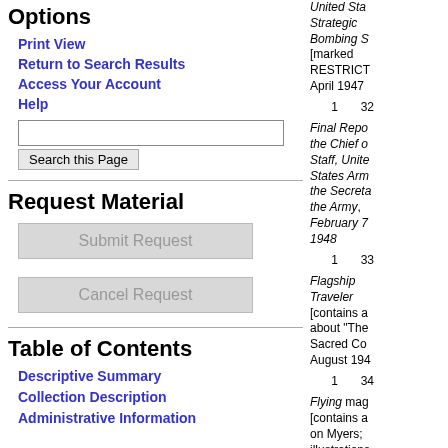Options
Print View
Return to Search Results
Access Your Account
Help
Request Material
Table of Contents
Descriptive Summary
Collection Description
Administrative Information
United States Strategic Bombing S [marked RESTRICT] April 1947
1  32
Final Repo the Chief o Staff, Unite States Arm the Secreta the Army , February 7 1948
1  33
Flagship Traveler [contains a about "The Sacred Co August 194
1  34
Flying mag [contains a on Myers; illustrations "The Sacre Cow" insig including g designed b